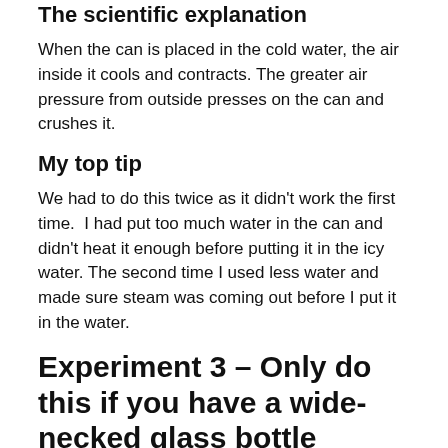The scientific explanation
When the can is placed in the cold water, the air inside it cools and contracts. The greater air pressure from outside presses on the can and crushes it.
My top tip
We had to do this twice as it didn't work the first time.  I had put too much water in the can and didn't heat it enough before putting it in the icy water. The second time I used less water and made sure steam was coming out before I put it in the water.
Experiment 3 – Only do this if you have a wide-necked glass bottle
We tried this one but our bottle didn't have a wide enough opening for it to work properly.